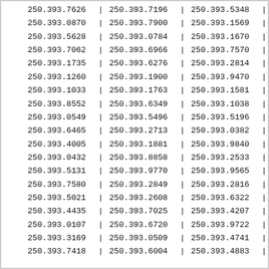| Col1 | Sep | Col2 | Sep | Col3 | Sep |
| --- | --- | --- | --- | --- | --- |
| 250.393.7626 | | | 250.393.7196 | | | 250.393.5348 | | |
| 250.393.0870 | | | 250.393.7900 | | | 250.393.1569 | | |
| 250.393.5628 | | | 250.393.0784 | | | 250.393.1670 | | |
| 250.393.7062 | | | 250.393.6966 | | | 250.393.7570 | | |
| 250.393.1735 | | | 250.393.6276 | | | 250.393.2814 | | |
| 250.393.1260 | | | 250.393.1900 | | | 250.393.9470 | | |
| 250.393.1033 | | | 250.393.1763 | | | 250.393.1581 | | |
| 250.393.8552 | | | 250.393.6349 | | | 250.393.1038 | | |
| 250.393.0549 | | | 250.393.5496 | | | 250.393.5196 | | |
| 250.393.6465 | | | 250.393.2713 | | | 250.393.0382 | | |
| 250.393.4005 | | | 250.393.1881 | | | 250.393.9840 | | |
| 250.393.0432 | | | 250.393.8858 | | | 250.393.2533 | | |
| 250.393.5131 | | | 250.393.9770 | | | 250.393.9565 | | |
| 250.393.7580 | | | 250.393.2849 | | | 250.393.2816 | | |
| 250.393.5021 | | | 250.393.2608 | | | 250.393.6322 | | |
| 250.393.4435 | | | 250.393.7025 | | | 250.393.4207 | | |
| 250.393.0107 | | | 250.393.6720 | | | 250.393.9722 | | |
| 250.393.3169 | | | 250.393.0509 | | | 250.393.4741 | | |
| 250.393.7418 | | | 250.393.6004 | | | 250.393.4883 | | |